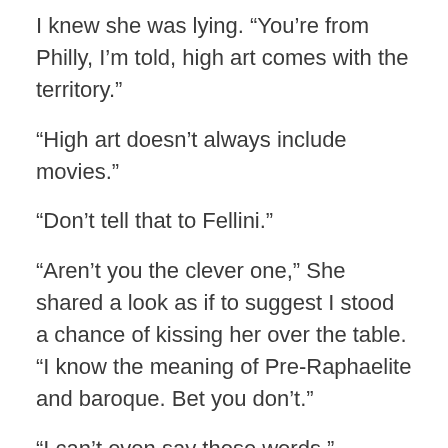I knew she was lying. “You’re from Philly, I’m told, high art comes with the territory.”
“High art doesn’t always include movies.”
“Don’t tell that to Fellini.”
“Aren’t you the clever one,” She shared a look as if to suggest I stood a chance of kissing her over the table. “I know the meaning of Pre-Raphaelite and baroque. Bet you don’t.”
“I can’t even say those words.”
“Proves my point. Movies are for the masses, which automatically makes them low-brow.” She paused, sounding drunk. “This is going to be fun. You think I’m just some rich Girl Scout, but you are so wrong. I bet you only speak one language.”